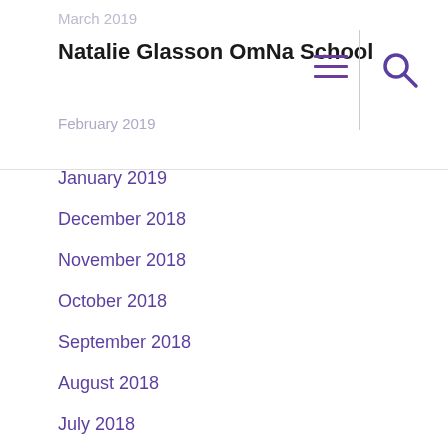Natalie Glasson OmNa School
January 2019
December 2018
November 2018
October 2018
September 2018
August 2018
July 2018
June 2018
May 2018
April 2018
March 2018